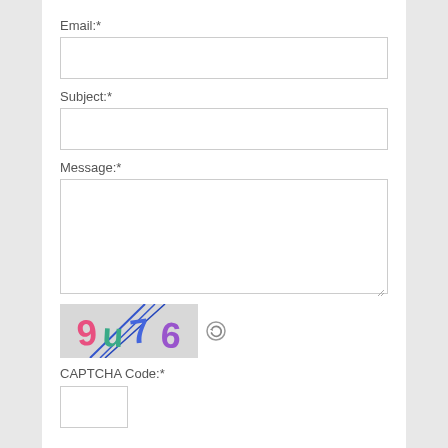Email:*
[Figure (other): Empty text input box for Email field]
Subject:*
[Figure (other): Empty text input box for Subject field]
Message:*
[Figure (other): Empty textarea for Message field with resize handle]
[Figure (other): CAPTCHA image showing characters: 9 u 7 6 in pink, teal, blue and purple colors with blue diagonal lines across. Next to it is a refresh/reload icon button.]
CAPTCHA Code:*
[Figure (other): Empty text input box for CAPTCHA code entry]